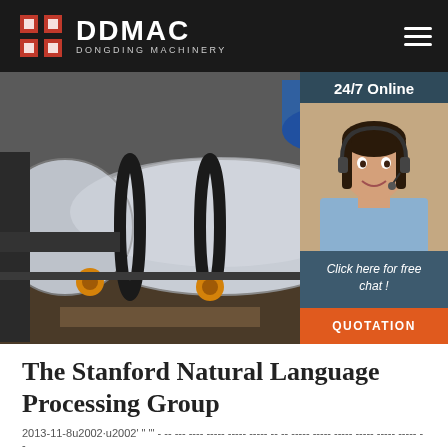DDMAC DONGDING MACHINERY
[Figure (photo): Industrial rotary drum dryer machine in a factory setting, with large cylindrical drum, conveyor, and blue ductwork visible. Sidebar shows a customer service agent with headset and '24/7 Online', 'Click here for free chat!', and 'QUOTATION' button.]
The Stanford Natural Language Processing Group
2013-11-8u2002·u2002' " "' - -- --- ---- ----- ----- ----- -- -- ----- ----- ----- ----- ----- ----- --
-- ----- ----- ----- ----- ----- ----- ----- ----- ----- ----- ----- ----- --
-- ----- ----- ----- ----- ----- ----- ----- ----- ----- ----- ----- ----- --